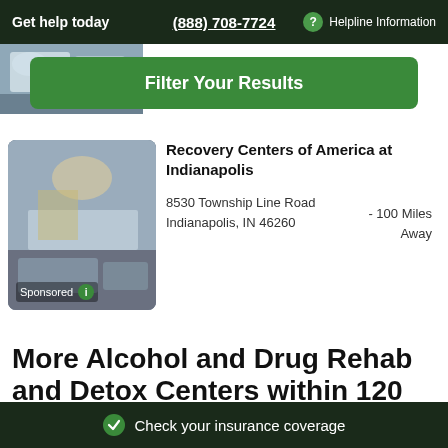Get help today | (888) 708-7724 | Helpline Information
[Figure (photo): Interior lobby/lounge photo of a rehab center, partially visible at top]
Filter Your Results
Recovery Centers of America at Indianapolis
8530 Township Line Road Indianapolis, IN 46260
- 100 Miles Away
Sponsored
More Alcohol and Drug Rehab and Detox Centers within 120 miles of Houston, OH
Check your insurance coverage